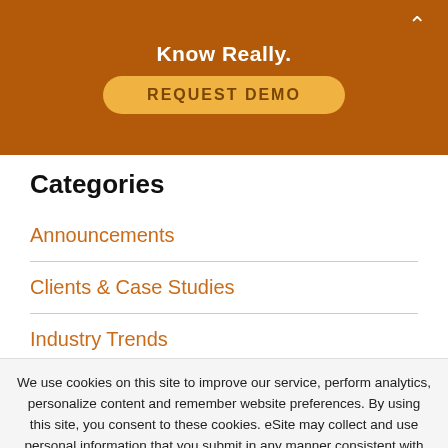Know Really.
REQUEST DEMO
Categories
Announcements
Clients & Case Studies
Industry Trends
We use cookies on this site to improve our service, perform analytics, personalize content and remember website preferences. By using this site, you consent to these cookies. eSite may collect and use personal information that you submit in any manner consistent with our privacy policy. For more information visit our privacy policy. Cookie settings
ACCEPT